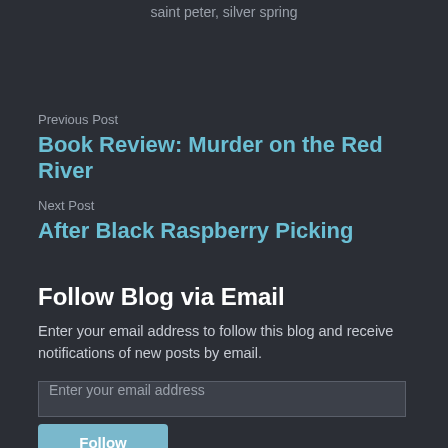saint peter, silver spring
Previous Post
Book Review: Murder on the Red River
Next Post
After Black Raspberry Picking
Follow Blog via Email
Enter your email address to follow this blog and receive notifications of new posts by email.
Enter your email address
Follow